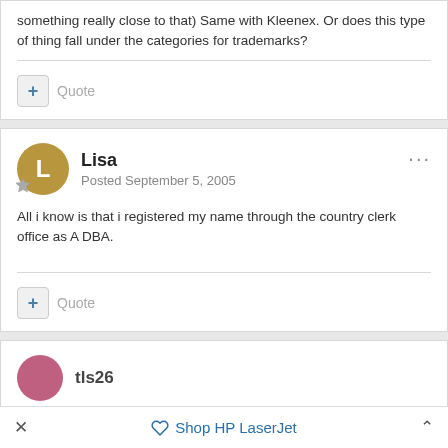something really close to that) Same with Kleenex. Or does this type of thing fall under the categories for trademarks?
Quote
Lisa
Posted September 5, 2005
All i know is that i registered my name through the country clerk office as A DBA.
Quote
tls26
Shop HP LaserJet